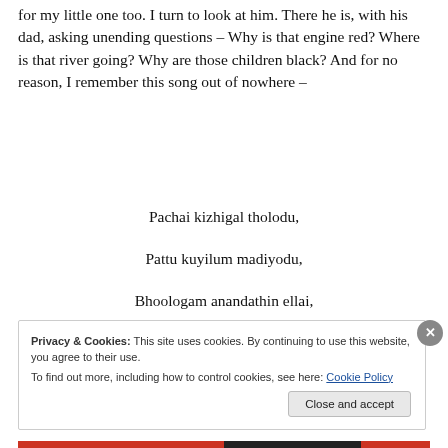for my little one too. I turn to look at him. There he is, with his dad, asking unending questions – Why is that engine red? Where is that river going? Why are those children black? And for no reason, I remember this song out of nowhere –
Pachai kizhigal tholodu,
Pattu kuyilum madiyodu,
Bhoologam anandathin ellai,
Privacy & Cookies: This site uses cookies. By continuing to use this website, you agree to their use.
To find out more, including how to control cookies, see here: Cookie Policy
Close and accept